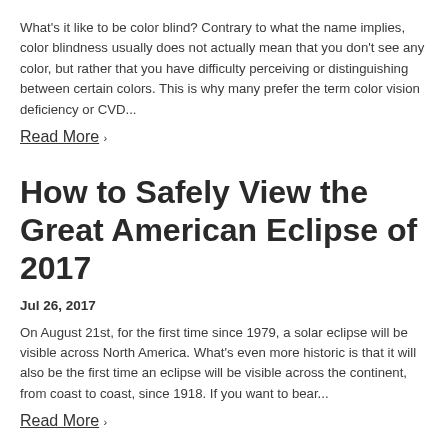What's it like to be color blind? Contrary to what the name implies, color blindness usually does not actually mean that you don't see any color, but rather that you have difficulty perceiving or distinguishing between certain colors. This is why many prefer the term color vision deficiency or CVD...
Read More ›
How to Safely View the Great American Eclipse of 2017
Jul 26, 2017
On August 21st, for the first time since 1979, a solar eclipse will be visible across North America. What's even more historic is that it will also be the first time an eclipse will be visible across the continent, from coast to coast, since 1918. If you want to bear...
Read More ›
Are Your Eyes Sensitive to